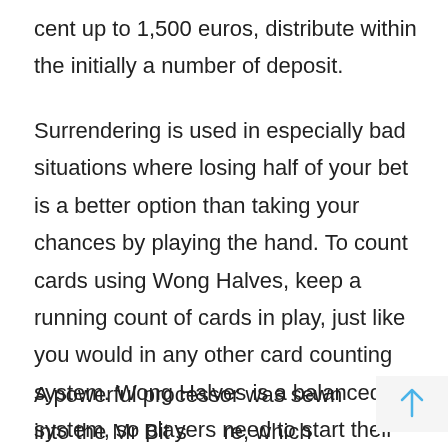cent up to 1,500 euros, distribute within the initially a number of deposit.
Surrendering is used in especially bad situations where losing half of your bet is a better option than taking your chances by playing the hand. To count cards using Wong Halves, keep a running count of cards in play, just like you would in any other card counting system. Wong Halves is a balanced system, so players need to start their count at 0 whenever the deck is shuffled and incorporate true count into their strategy. Each blackjack game has a basic strategy, the optimal method of playing any hand.
A powerful processor was sewn into the Mr Bit software, which ensured almost instant download of gambling